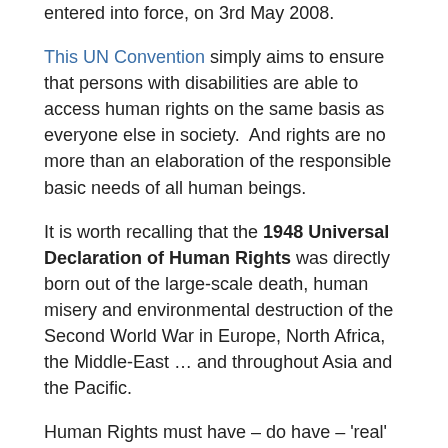entered into force, on 3rd May 2008.
This UN Convention simply aims to ensure that persons with disabilities are able to access human rights on the same basis as everyone else in society.  And rights are no more than an elaboration of the responsible basic needs of all human beings.
It is worth recalling that the 1948 Universal Declaration of Human Rights was directly born out of the large-scale death, human misery and environmental destruction of the Second World War in Europe, North Africa, the Middle-East … and throughout Asia and the Pacific.
Human Rights must have – do have – 'real' meaning in a civilized society !
.
Israel signed the UN Disability Rights Convention on 30th March 2007.  At the time of writing, it has not yet signed the Convention's Optional Protocol.  Israel has definitely